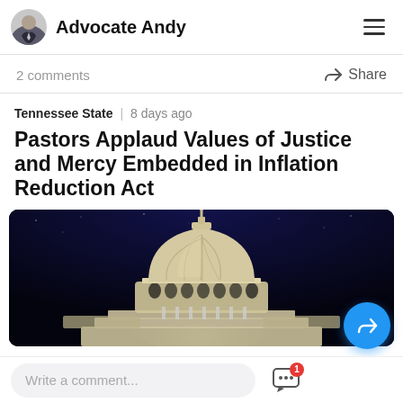Advocate Andy
2 comments
Share
Tennessee State | 8 days ago
Pastors Applaud Values of Justice and Mercy Embedded in Inflation Reduction Act
[Figure (photo): US Capitol dome lit at night against a dark navy sky]
Write a comment...